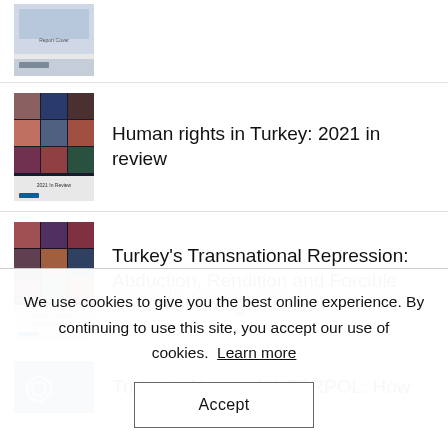[Figure (photo): Book cover thumbnail, partially visible at top]
Human rights in Turkey: 2021 in review
Turkey's Transnational Repression: Abduction, Rendition and Forcible Return of Erdoğan Critics
Turkey's Abuse of INTERPOL: How Erdoğan Weaponizes the...
We use cookies to give you the best online experience. By continuing to use this site, you accept our use of cookies. Learn more
Accept